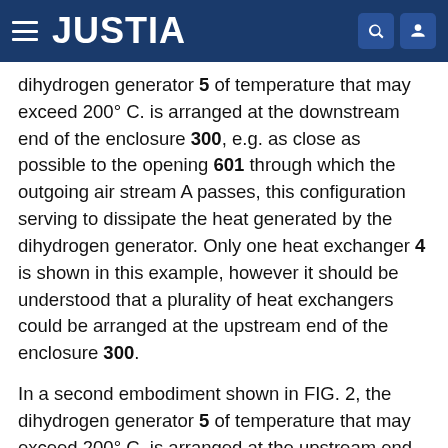JUSTIA
dihydrogen generator 5 of temperature that may exceed 200° C. is arranged at the downstream end of the enclosure 300, e.g. as close as possible to the opening 601 through which the outgoing air stream A passes, this configuration serving to dissipate the heat generated by the dihydrogen generator. Only one heat exchanger 4 is shown in this example, however it should be understood that a plurality of heat exchangers could be arranged at the upstream end of the enclosure 300.
In a second embodiment shown in FIG. 2, the dihydrogen generator 5 of temperature that may exceed 200° C. is arranged at the upstream end of the enclosure 300, e.g. as close as possible to the air stream A entering through the opening 600. The power electronics 2 and the fuel cell 1 are then located downstream from the dihydrogen generator 5. The heat exchanger 4